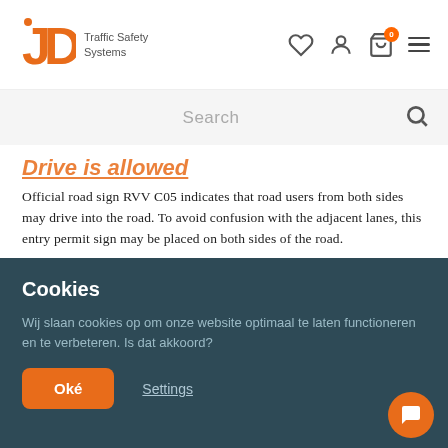JD Traffic Safety Systems — navigation header with logo, icons
Search
Drive is allowed
Official road sign RVV C05 indicates that road users from both sides may drive into the road. To avoid confusion with the adjacent lanes, this entry permit sign may be placed on both sides of the road.
Cookies
Wij slaan cookies op om onze website optimaal te laten functioneren en te verbeteren. Is dat akkoord?
Oké
Settings